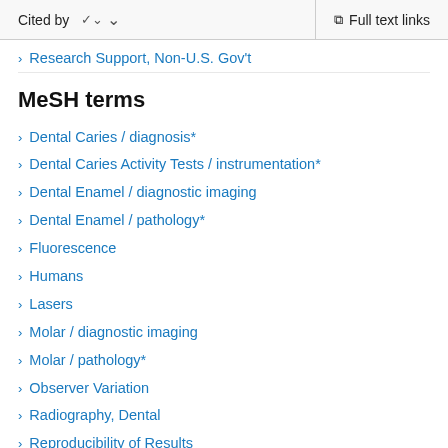Cited by    ∨    Full text links
Research Support, Non-U.S. Gov't
MeSH terms
Dental Caries / diagnosis*
Dental Caries Activity Tests / instrumentation*
Dental Enamel / diagnostic imaging
Dental Enamel / pathology*
Fluorescence
Humans
Lasers
Molar / diagnostic imaging
Molar / pathology*
Observer Variation
Radiography, Dental
Reproducibility of Results
Sensitivity and Specificity